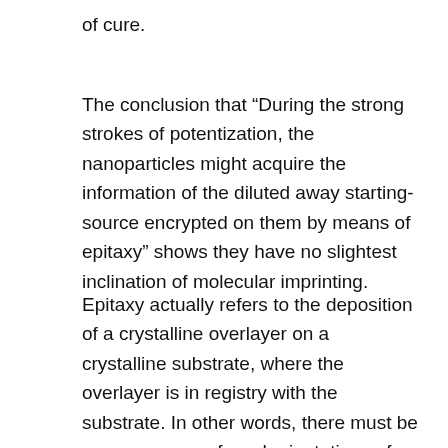of cure.
The conclusion that “During the strong strokes of potentization, the nanoparticles might acquire the information of the diluted away starting-source encrypted on them by means of epitaxy” shows they have no slightest inclination of molecular imprinting.
Epitaxy actually refers to the deposition of a crystalline overlayer on a crystalline substrate, where the overlayer is in registry with the substrate. In other words, there must be one or more preferred orientations of the overlayer with respect to the substrate for this to be termed epitaxial growth. The overlayer is called an